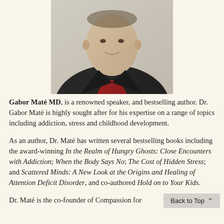[Figure (photo): Portrait photo of Gabor Maté MD, an older man wearing a dark jacket and red shirt, smiling slightly against a light background.]
Gabor Maté MD, is a renowned speaker, and bestselling author. Dr. Gabor Maté is highly sought after for his expertise on a range of topics including addiction, stress and childhood development.
As an author, Dr. Maté has written several bestselling books including the award-winning In the Realm of Hungry Ghosts: Close Encounters with Addiction; When the Body Says No; The Cost of Hidden Stress; and Scattered Minds: A New Look at the Origins and Healing of Attention Deficit Disorder, and co-authored Hold on to Your Kids.
Dr. Maté is the co-founder of Compassion for